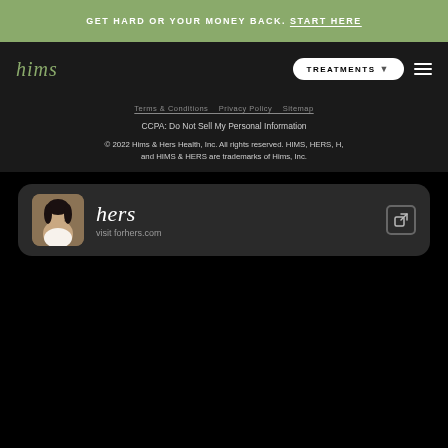GET HARD OR YOUR MONEY BACK. START HERE
hims | TREATMENTS
Terms & Conditions   Privacy Policy   Sitemap
CCPA: Do Not Sell My Personal Information
© 2022 Hims & Hers Health, Inc. All rights reserved. HIMS, HERS, H, and HIMS & HERS are trademarks of Hims, Inc.
[Figure (screenshot): Hers brand card with logo, woman photo, and visit forhers.com link]